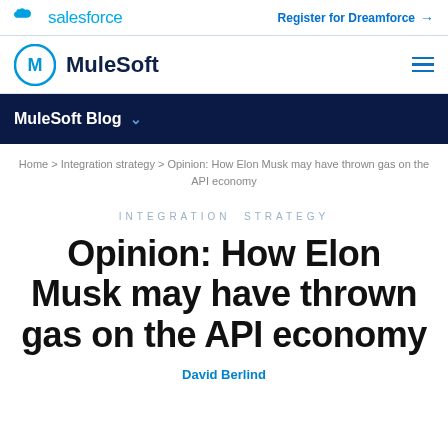salesforce   Register for Dreamforce →
MuleSoft   ≡
MuleSoft Blog ∨
Home > Integration strategy > Opinion: How Elon Musk may have thrown gas on the API economy
INTEGRATION STRATEGY
Opinion: How Elon Musk may have thrown gas on the API economy